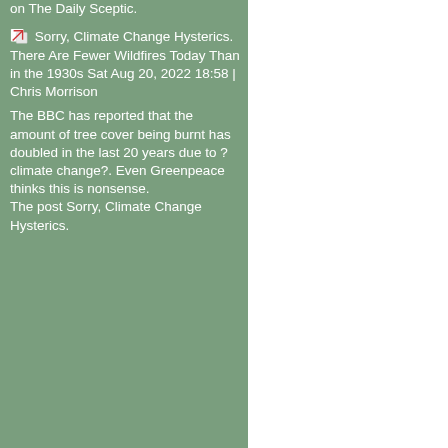on The Daily Sceptic.
Sorry, Climate Change Hysterics. There Are Fewer Wildfires Today Than in the 1930s Sat Aug 20, 2022 18:58 | Chris Morrison
The BBC has reported that the amount of tree cover being burnt has doubled in the last 20 years due to ?climate change?. Even Greenpeace thinks this is nonsense. The post Sorry, Climate Change Hysterics.